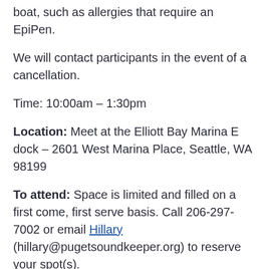boat, such as allergies that require an EpiPen.
We will contact participants in the event of a cancellation.
Time: 10:00am – 1:30pm
Location: Meet at the Elliott Bay Marina E dock – 2601 West Marina Place, Seattle, WA 98199
To attend: Space is limited and filled on a first come, first serve basis. Call 206-297-7002 or email Hillary (hillary@pugetsoundkeeper.org) to reserve your spot(s).
Share this: